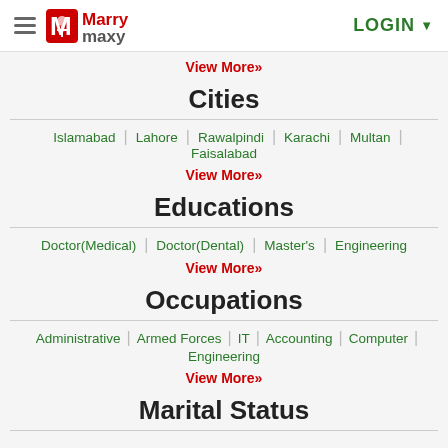MarryMaxy — LOGIN
View More»
Cities
Islamabad | Lahore | Rawalpindi | Karachi | Multan | Faisalabad
View More»
Educations
Doctor(Medical) | Doctor(Dental) | Master's | Engineering
View More»
Occupations
Administrative | Armed Forces | IT | Accounting | Computer | Engineering
View More»
Marital Status